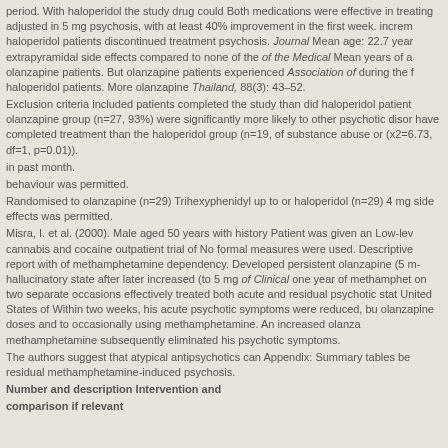period. With haloperidol the study drug could Both medications were effective in treating adjusted in 5 mg psychosis, with at least 40% improvement in the first week. increm haloperidol patients discontinued treatment psychosis. Journal Mean age: 22.7 year extrapyramidal side effects compared to none of the of the Medical Mean years of a olanzapine patients. But olanzapine patients experienced Association of during the haloperidol patients. More olanzapine Thailand, 88(3): 43–52.
Exclusion criteria included patients completed the study than did haloperidol patient olanzapine group (n=27, 93%) were significantly more likely to other psychotic disor have completed treatment than the haloperidol group (n=19, of substance abuse or (x2=6.73, df=1, p=0.01)).
in past month.
behaviour was permitted.
Randomised to olanzapine (n=29) Trihexyphenidyl up to or haloperidol (n=29) 4 mg side effects was permitted.
Misra, I. et al. (2000). Male aged 50 years with history Patient was given an Low-lev cannabis and cocaine outpatient trial of No formal measures were used. Descriptive report with of methamphetamine dependency. Developed persistent olanzapine (5 m hallucinatory state after later increased (to 5 mg of Clinical one year of methamphet on two separate occasions effectively treated both acute and residual psychotic stat United States of Within two weeks, his acute psychotic symptoms were reduced, bu olanzapine doses and to occasionally using methamphetamine. An increased olanz methamphetamine subsequently eliminated his psychotic symptoms.
The authors suggest that atypical antipsychotics can Appendix: Summary tables be residual methamphetamine-induced psychosis.
Number and description Intervention and comparison if relevant